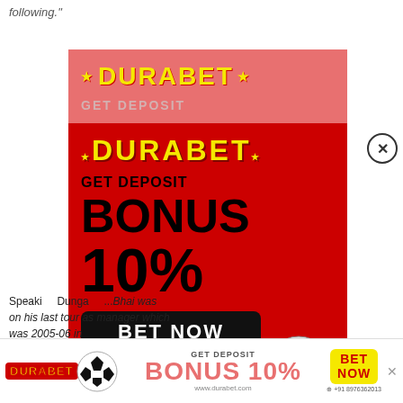following."
[Figure (infographic): Durabet betting advertisement popup with red background, yellow logo text DURABET with stars, GET DEPOSIT BONUS 10% text, BET NOW button, soccer ball image, WhatsApp number +91 8976362013]
Speaking Dungana ...Bhai was on his last tour as manager which was 2005-06 in
[Figure (infographic): Bottom banner ad for Durabet: logo, soccer ball, GET DEPOSIT BONUS 10% text, BET NOW button, www.durabet.com, WhatsApp +91 8976362013]